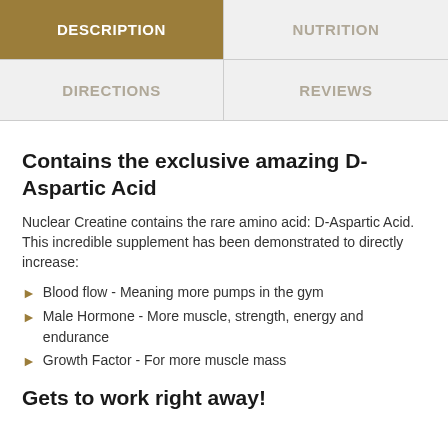DESCRIPTION | NUTRITION | DIRECTIONS | REVIEWS
Contains the exclusive amazing D-Aspartic Acid
Nuclear Creatine contains the rare amino acid: D-Aspartic Acid. This incredible supplement has been demonstrated to directly increase:
Blood flow - Meaning more pumps in the gym
Male Hormone - More muscle, strength, energy and endurance
Growth Factor - For more muscle mass
Gets to work right away!